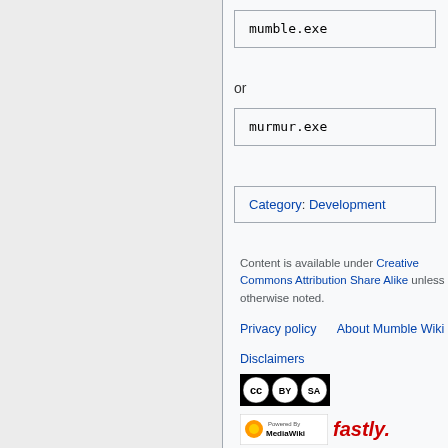mumble.exe
or
murmur.exe
Category: Development
Content is available under Creative Commons Attribution Share Alike unless otherwise noted.
Privacy policy   About Mumble Wiki
Disclaimers
[Figure (logo): Creative Commons BY-SA license badge]
[Figure (logo): Powered by MediaWiki badge and Fastly logo]